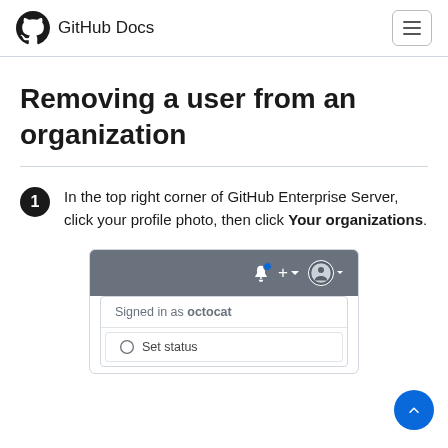GitHub Docs
Removing a user from an organization
In the top right corner of GitHub Enterprise Server, click your profile photo, then click Your organizations.
[Figure (screenshot): Screenshot of GitHub Enterprise Server toolbar showing notification bell, plus icon, and profile photo dropdown with 'Signed in as octocat' and 'Set status' menu item visible.]